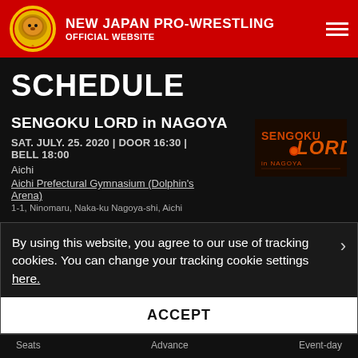NEW JAPAN PRO-WRESTLING OFFICIAL WEBSITE
SCHEDULE
SENGOKU LORD in NAGOYA
SAT. JULY. 25. 2020 | DOOR 16:30 | BELL 18:00
Aichi
Aichi Prefectural Gymnasium (Dolphin's Arena)
1-1, Ninomaru, Naka-ku Nagoya-shi, Aichi
[Figure (logo): Sengoku Lord in Nagoya event logo with orange/red text on dark background]
By using this website, you agree to our use of tracking cookies. You can change your tracking cookie settings here.
ACCEPT
Seats   Advance   Event-day